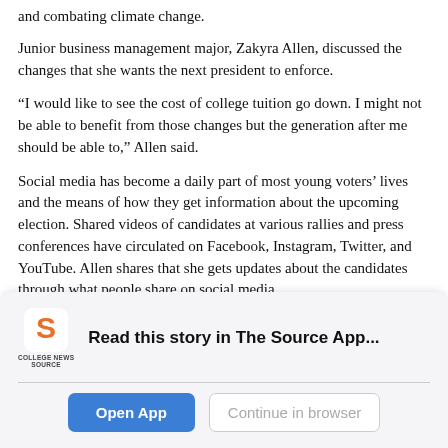and combating climate change.
Junior business management major, Zakyra Allen, discussed the changes that she wants the next president to enforce.
“I would like to see the cost of college tuition go down. I might not be able to benefit from those changes but the generation after me should be able to,” Allen said.
Social media has become a daily part of most young voters’ lives and the means of how they get information about the upcoming election. Shared videos of candidates at various rallies and press conferences have circulated on Facebook, Instagram, Twitter, and YouTube. Allen shares that she gets updates about the candidates through what people share on social media.
[Figure (logo): College News Source logo with stylized S and text 'COLLEGE NEWS SOURCE']
Read this story in The Source App...
Open App | Continue in browser